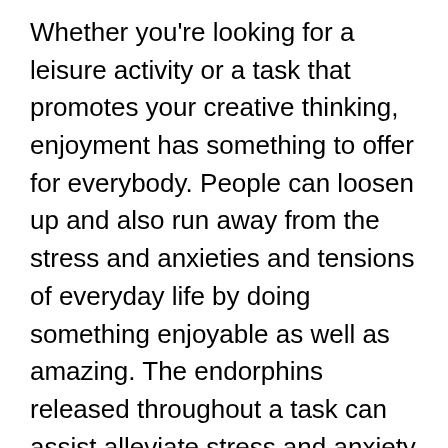Whether you're looking for a leisure activity or a task that promotes your creative thinking, enjoyment has something to offer for everybody. People can loosen up and also run away from the stress and anxieties and tensions of everyday life by doing something enjoyable as well as amazing. The endorphins released throughout a task can assist alleviate stress and anxiety as well as discomfort. Moreover, amusement can bring individuals with each other and make people really feel great about themselves. The adhering to are some methods you can discover entertainment for yourself and also your loved ones.
Films are one more prominent kind of amusement. Documentary films, on the other hand, have a dual